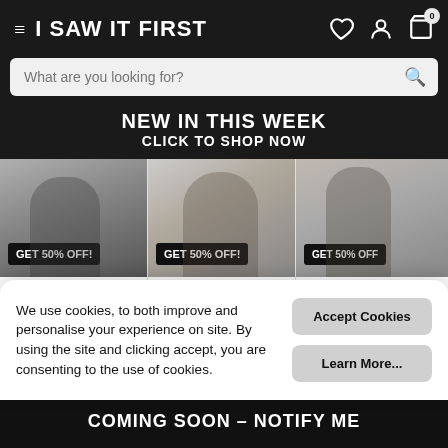I SAW IT FIRST
What are you looking for?
NEW IN THIS WEEK
CLICK TO SHOP NOW
[Figure (photo): Product grid with three fashion items showing 50% off badges. Item 1: Black Premium Wov... $21.00 was $42.00. Item 2: Brown Zebra Printed... $34.00 was $68.00. Item 3: Khaki Baloo... $32.00 was $63...]
We use cookies, to both improve and personalise your experience on site. By using the site and clicking accept, you are consenting to the use of cookies.
Accept Cookies
Learn More...
COMING SOON – NOTIFY ME